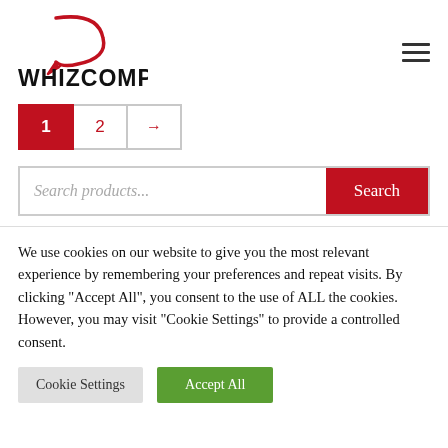[Figure (logo): WhizComp logo with red swoosh/arrow graphic and bold text WHIZCOMP]
[Figure (infographic): Hamburger menu icon (three horizontal lines) in top right]
Pagination: 1 (active, red), 2, →
Search products...
Search
We use cookies on our website to give you the most relevant experience by remembering your preferences and repeat visits. By clicking "Accept All", you consent to the use of ALL the cookies. However, you may visit "Cookie Settings" to provide a controlled consent.
Cookie Settings
Accept All